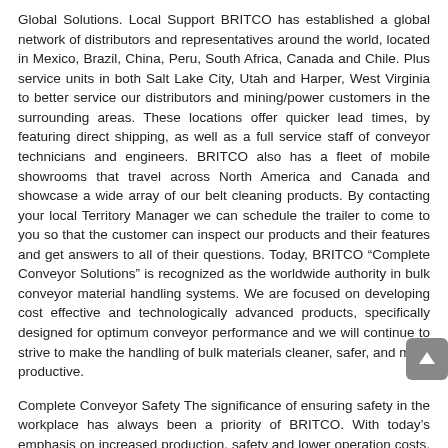Global Solutions. Local Support BRITCO has established a global network of distributors and representatives around the world, located in Mexico, Brazil, China, Peru, South Africa, Canada and Chile. Plus service units in both Salt Lake City, Utah and Harper, West Virginia to better service our distributors and mining/power customers in the surrounding areas. These locations offer quicker lead times, by featuring direct shipping, as well as a full service staff of conveyor technicians and engineers. BRITCO also has a fleet of mobile showrooms that travel across North America and Canada and showcase a wide array of our belt cleaning products. By contacting your local Territory Manager we can schedule the trailer to come to you so that the customer can inspect our products and their features and get answers to all of their questions. Today, BRITCO “Complete Conveyor Solutions” is recognized as the worldwide authority in bulk conveyor material handling systems. We are focused on developing cost effective and technologically advanced products, specifically designed for optimum conveyor performance and we will continue to strive to make the handling of bulk materials cleaner, safer, and more productive.
Complete Conveyor Safety The significance of ensuring safety in the workplace has always been a priority of BRITCO. With today’s emphasis on increased production, safety and lower operation costs, conveyor belt cleaners have become an important part to any bulk material handling conveyor system. Our Conveyor Safety equipment provides solutions for carry-back, spillage and dust control in load zone transfer points. Reduced carry-back and housekeeping are important to the safety, working conditions and reliability at any mine site. Our products are engineered to provide the best results as well as provide ease of installation and optimize overall conveyor performance.